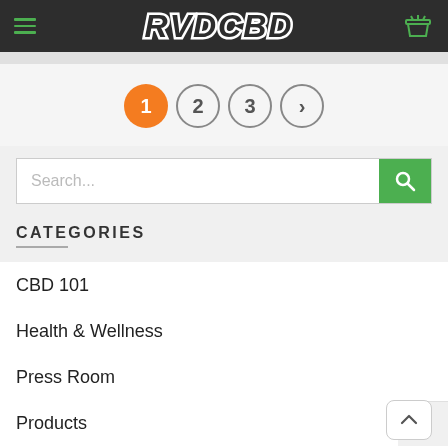RVDCBD - navigation header with hamburger menu and cart icon
[Figure (screenshot): Pagination controls showing pages 1 (active/orange), 2, 3, and a next arrow button]
Search...
CATEGORIES
CBD 101
Health & Wellness
Press Room
Products
RVD Nation